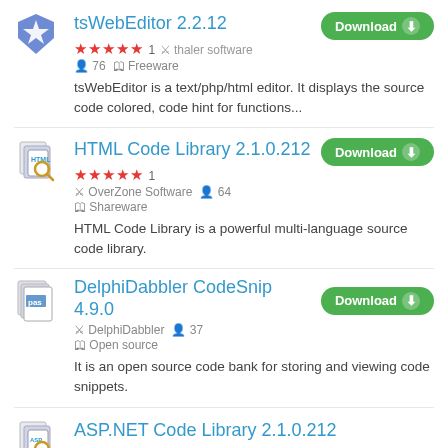tsWebEditor 2.2.12 — ★★★★★ 1 · thaler software · 76 · Freeware — tsWebEditor is a text/php/html editor. It displays the source code colored, code hint for functions...
HTML Code Library 2.1.0.212 — ★★★★★ 1 · OverZone Software · 64 · Shareware — HTML Code Library is a powerful multi-language source code library.
DelphiDabbler CodeSnip 4.9.0 — DelphiDabbler · 37 · Open source — It is an open source code bank for storing and viewing code snippets.
ASP.NET Code Library 2.1.0.212